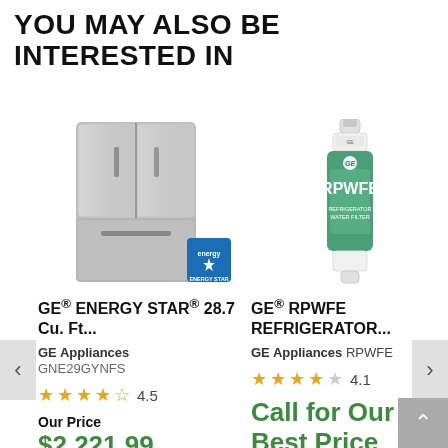YOU MAY ALSO BE INTERESTED IN
[Figure (photo): GE refrigerator French door stainless steel with Energy Star badge]
[Figure (photo): GE RPWFE refrigerator water filter white and green canister]
GE® ENERGY STAR® 28.7 Cu. Ft...
GE® RPWFE REFRIGERATOR...
GE Appliances GNE29GYNFS
GE Appliances RPWFE
4.5
4.1
Our Price $2,221.99
Call for Our Best Price